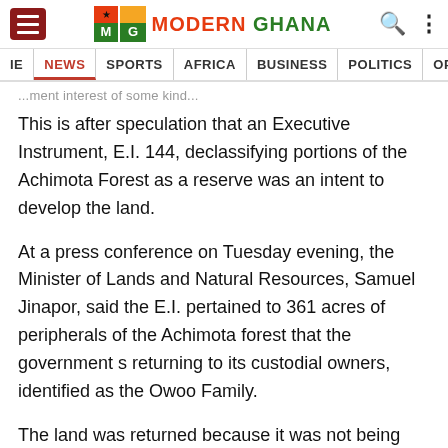MG Modern Ghana — NEWS | SPORTS | AFRICA | BUSINESS | POLITICS | OPINIONS
...ment interest of some kind...
This is after speculation that an Executive Instrument, E.I. 144, declassifying portions of the Achimota Forest as a reserve was an intent to develop the land.
At a press conference on Tuesday evening, the Minister of Lands and Natural Resources, Samuel Jinapor, said the E.I. pertained to 361 acres of peripherals of the Achimota forest that the government s returning to its custodial owners, identified as the Owoo Family.
The land was returned because it was not being used for its intended purpose, which included the extension